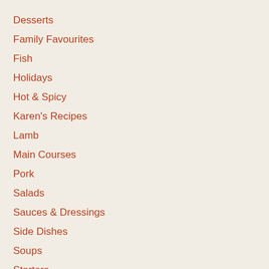Desserts
Family Favourites
Fish
Holidays
Hot & Spicy
Karen's Recipes
Lamb
Main Courses
Pork
Salads
Sauces & Dressings
Side Dishes
Soups
Starters